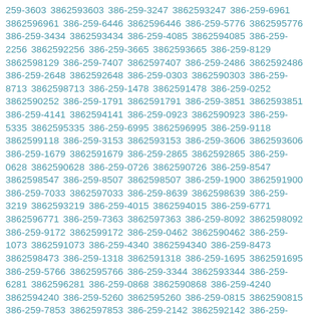259-3603 3862593603 386-259-3247 3862593247 386-259-6961 3862596961 386-259-6446 3862596446 386-259-5776 3862595776 386-259-3434 3862593434 386-259-4085 3862594085 386-259-2256 3862592256 386-259-3665 3862593665 386-259-8129 3862598129 386-259-7407 3862597407 386-259-2486 3862592486 386-259-2648 3862592648 386-259-0303 3862590303 386-259-8713 3862598713 386-259-1478 3862591478 386-259-0252 3862590252 386-259-1791 3862591791 386-259-3851 3862593851 386-259-4141 3862594141 386-259-0923 3862590923 386-259-5335 3862595335 386-259-6995 3862596995 386-259-9118 3862599118 386-259-3153 3862593153 386-259-3606 3862593606 386-259-1679 3862591679 386-259-2865 3862592865 386-259-0628 3862590628 386-259-0726 3862590726 386-259-8547 3862598547 386-259-8507 3862598507 386-259-1900 3862591900 386-259-7033 3862597033 386-259-8639 3862598639 386-259-3219 3862593219 386-259-4015 3862594015 386-259-6771 3862596771 386-259-7363 3862597363 386-259-8092 3862598092 386-259-9172 3862599172 386-259-0462 3862590462 386-259-1073 3862591073 386-259-4340 3862594340 386-259-8473 3862598473 386-259-1318 3862591318 386-259-1695 3862591695 386-259-5766 3862595766 386-259-3344 3862593344 386-259-6281 3862596281 386-259-0868 3862590868 386-259-4240 3862594240 386-259-5260 3862595260 386-259-0815 3862590815 386-259-7853 3862597853 386-259-2142 3862592142 386-259-5520 3862595520 386-259-8314 3862598314 386-259-8923 3862598923 386-259-2841 3862592841 386-259-7242 3862597242 386-259-1666 3862591666 386-259-7516 3862597516 386-259-5017 3862595017 386-259-8647 3862598647 386-259-0828 3862590828 386-259-2456 3862592456 386-259-9870